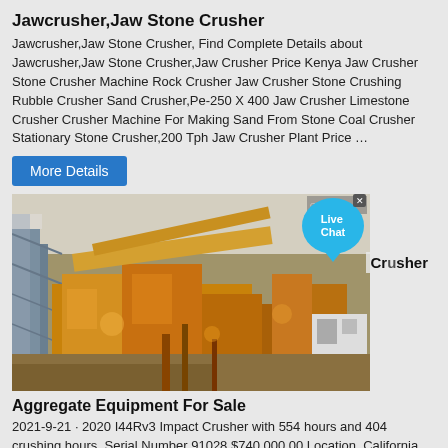Jawcrusher,Jaw Stone Crusher
Jawcrusher,Jaw Stone Crusher, Find Complete Details about Jawcrusher,Jaw Stone Crusher,Jaw Crusher Price Kenya Jaw Crusher Stone Crusher Machine Rock Crusher Jaw Crusher Stone Crushing Rubble Crusher Sand Crusher,Pe-250 X 400 Jaw Crusher Limestone Crusher Crusher Machine For Making Sand From Stone Coal Crusher Stationary Stone Crusher,200 Tph Jaw Crusher Plant Price …
More Details
[Figure (photo): Aerial view of a large industrial aggregate/crushing plant facility with yellow machinery and scaffolding structures]
Aggregate Equipment For Sale
2021-9-21 · 2020 I44Rv3 Impact Crusher with 554 hours and 404 crushing hours. Serial Number 91028 $740,000.00 Location. California Central Coast Features • 1050mm